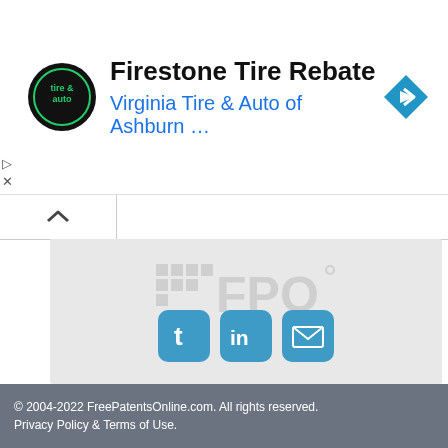[Figure (other): Advertisement banner: Virginia Tire & Auto of Ashburn logo (circular black badge), text 'Firestone Tire Rebate' in bold black and 'Virginia Tire & Auto of Ashburn ...' in blue, blue diamond navigation arrow icon on right]
Home
Search
Services
Contact us
[Figure (other): Three blue rounded-square social media icons: Twitter (t), LinkedIn (in), Email (envelope)]
© 2004-2022 FreePatentsOnline.com. All rights reserved. Privacy Policy & Terms of Use.